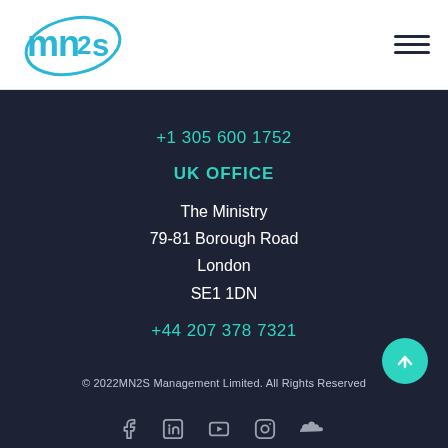[Figure (logo): MN2S logo in blue with swoosh graphic]
[Figure (other): Hamburger menu icon (three horizontal lines)]
+1 305 600 1752
UK OFFICE
The Ministry
79-81 Borough Road
London
SE1 1DN
+44 207 378 7321
© 2022MN2S Management Limited. All Rights Reserved
[Figure (other): Social media icons row: Facebook, LinkedIn, YouTube, Instagram, SoundCloud]